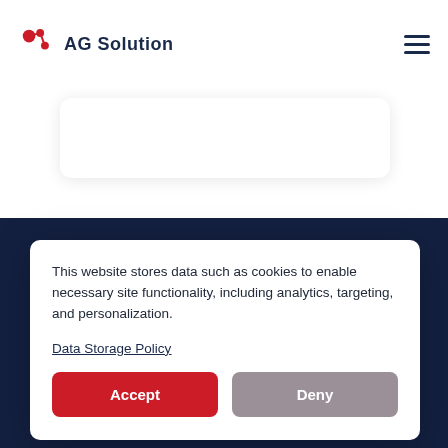AG Solution
[Figure (screenshot): White rounded card element below the header navigation bar]
[Figure (screenshot): Dark navy blue background section of the webpage]
industry. We offer automation intelligence,
This website stores data such as cookies to enable necessary site functionality, including analytics, targeting, and personalization.

Data Storage Policy
Accept
Deny